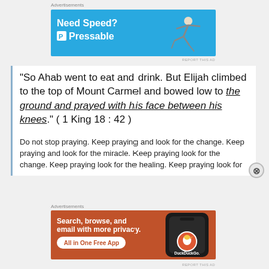[Figure (other): Pressable advertisement banner: blue background with 'Need Speed? Get P Pressable' text and a figure of a person leaping]
"So Ahab went to eat and drink. But Elijah climbed to the top of Mount Carmel and bowed low to the ground and prayed with his face between his knees." ( 1 King 18 : 42 )
Do not stop praying. Keep praying and look for the change. Keep praying and look for the miracle. Keep praying look for the change. Keep praying look for the healing. Keep praying look for...
[Figure (other): DuckDuckGo advertisement banner: orange background with 'Search, browse, and email with more privacy. All in One Free App' text and phone image]